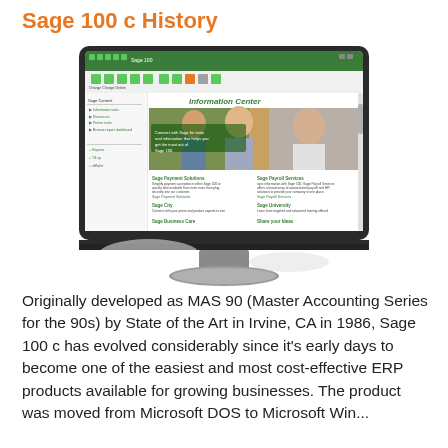Sage 100 c History
[Figure (screenshot): Screenshot of Sage 100 software interface showing the Information Center with options for Sage Payment Solutions, Sage Payroll Services, Sage City, Sage University, Sage Business Care, and Share your Ideas, displayed on a monitor.]
Originally developed as MAS 90 (Master Accounting Series for the 90s) by State of the Art in Irvine, CA in 1986, Sage 100 c has evolved considerably since it's early days to become one of the easiest and most cost-effective ERP products available for growing businesses. The product was moved from Microsoft DOS to Microsoft Windows, then...